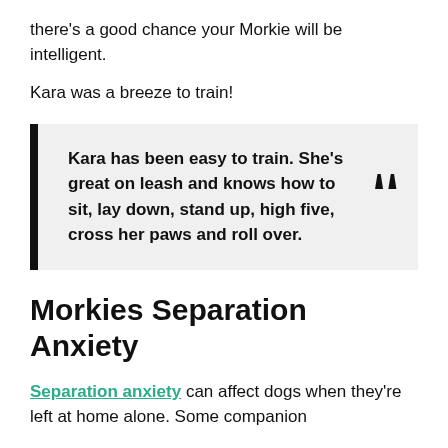there's a good chance your Morkie will be intelligent.
Kara was a breeze to train!
Kara has been easy to train. She's great on leash and knows how to sit, lay down, stand up, high five, cross her paws and roll over.
Morkies Separation Anxiety
Separation anxiety can affect dogs when they're left at home alone. Some companion